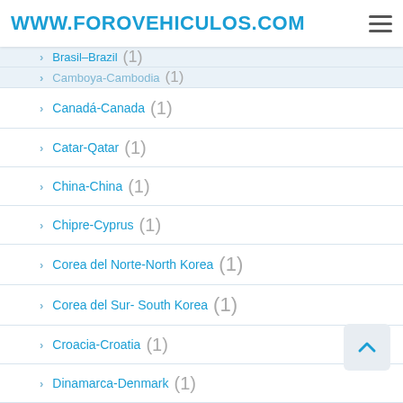WWW.FOROVEHICULOS.COM
Brasil–Brazil (1)
Camboya-Cambodia (1)
Canadá-Canada (1)
Catar-Qatar (1)
China-China (1)
Chipre-Cyprus (1)
Corea del Norte-North Korea (1)
Corea del Sur- South Korea (1)
Croacia-Croatia (1)
Dinamarca-Denmark (1)
Egipto-Egypt (1)
Emiratos Árabes Unidos-UAE (1)
Eslovaquia-Slovakia (1)
España-Spain (1)
Estados Unidos-USA (17)
Estonia-Estonia (1)